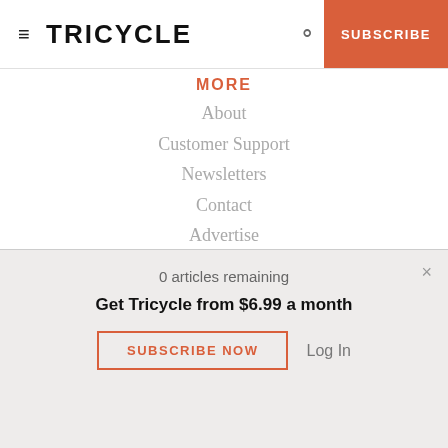≡ TRICYCLE  🔍  SUBSCRIBE
MORE
About
Customer Support
Newsletters
Contact
Advertise
Careers
Terms of Service
Privacy Policy
TRICYCLE
0 articles remaining
Get Tricycle from $6.99 a month
SUBSCRIBE NOW   Log In